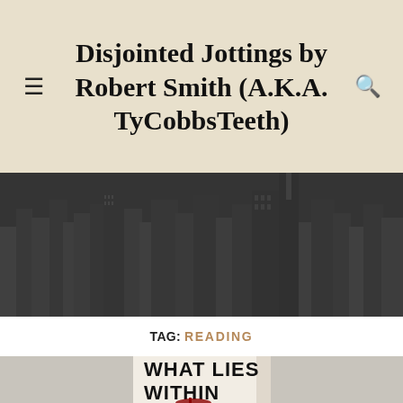Disjointed Jottings by Robert Smith (A.K.A. TyCobbsTeeth)
[Figure (photo): Black and white aerial photo of a dense urban city skyline with skyscrapers]
TAG: READING
[Figure (photo): Book cover of 'What Lies Within' standing upright on a textured light grey surface, showing bold black title text and a red blood splatter illustration at the bottom]